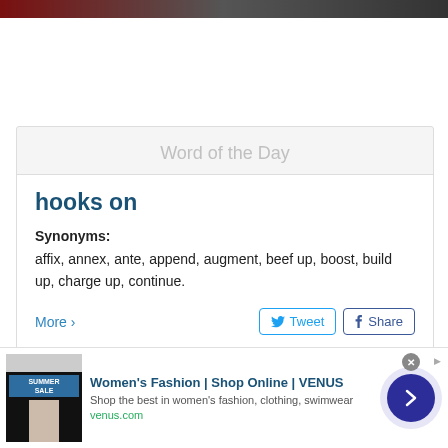[Figure (screenshot): Dark header bar with fire/banner imagery at top of page]
Word of the Day
hooks on
Synonyms: affix, annex, ante, append, augment, beef up, boost, build up, charge up, continue.
More >
[Figure (other): Tweet button and Share (Facebook) button]
[Figure (other): Advertisement banner: Women's Fashion | Shop Online | VENUS. Shop the best in women's fashion, clothing, swimwear. venus.com]